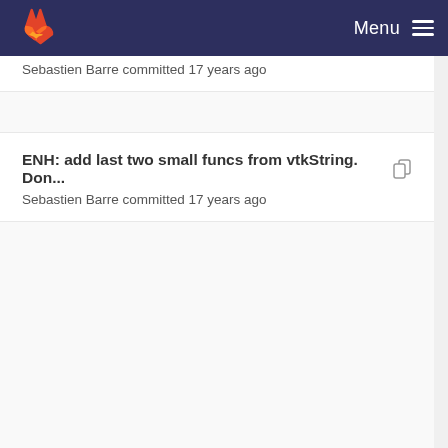Menu
Sebastien Barre committed 17 years ago
ENH: add last two small funcs from vtkString. Don... Sebastien Barre committed 17 years ago